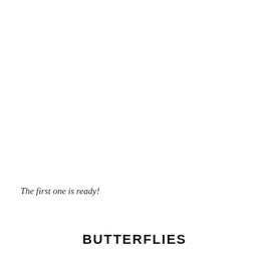The first one is ready!
BUTTERFLIES